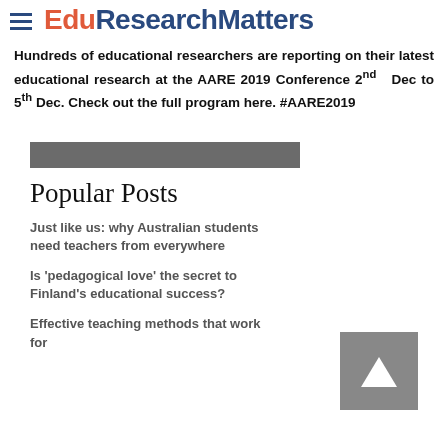EduResearchMatters
Hundreds of educational researchers are reporting on their latest educational research at the AARE 2019 Conference 2nd Dec to 5th Dec. Check out the full program here. #AARE2019
[Figure (other): Gray horizontal bar used as a UI separator/widget element]
Popular Posts
Just like us: why Australian students need teachers from everywhere
Is 'pedagogical love' the secret to Finland's educational success?
Effective teaching methods that work for
[Figure (other): Back to top button — gray square with white upward chevron arrow]